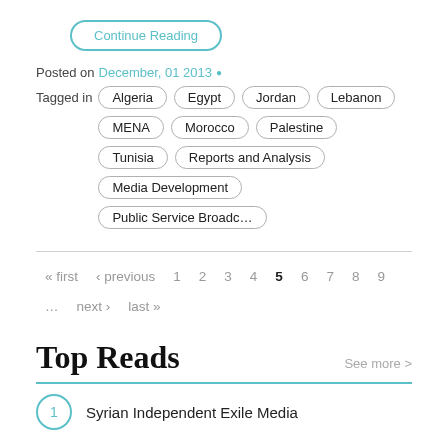Continue Reading
Posted on December, 01 2013 •
Tagged in Algeria Egypt Jordan Lebanon MENA Morocco Palestine Tunisia Reports and Analysis Media Development Public Service Broadc...
« first ‹ previous 1 2 3 4 5 6 7 8 9 ... next › last »
Top Reads
See more >
1 Syrian Independent Exile Media